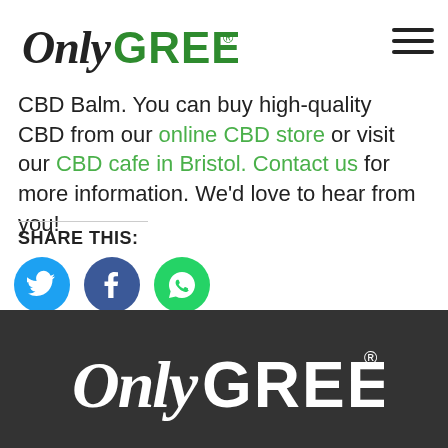[Figure (logo): OnlyGreen logo — cursive 'Only' in black and 'GREEN' in bold green letters with registered trademark symbol]
CBD Balm. You can buy high-quality CBD from our online CBD store or visit our CBD cafe in Bristol. Contact us for more information. We'd love to hear from you!
SHARE THIS:
[Figure (infographic): Three circular social share buttons: Twitter (blue), Facebook (dark blue), WhatsApp (green)]
[Figure (logo): OnlyGreen logo in white on dark background at bottom of page]